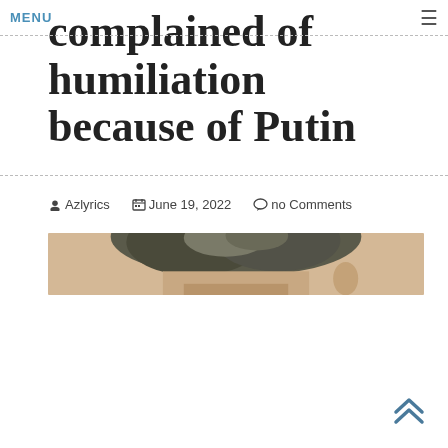MENU
complained of humiliation because of Putin
Azlyrics   June 19, 2022   no Comments
[Figure (photo): Partial view of a person's head showing dark gray hair, beige/warm background — appears to be a cropped photo of Putin or similar public figure.]